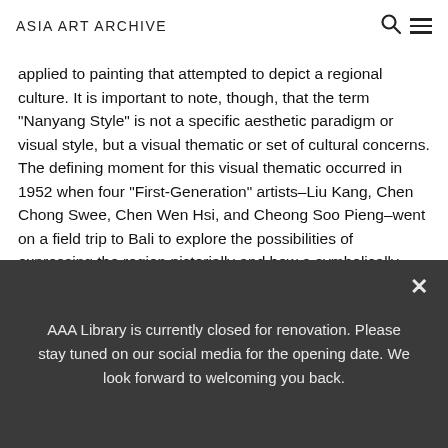ASIA ART ARCHIVE
applied to painting that attempted to depict a regional culture. It is important to note, though, that the term "Nanyang Style" is not a specific aesthetic paradigm or visual style, but a visual thematic or set of cultural concerns. The defining moment for this visual thematic occurred in 1952 when four "First-Generation" artists–Liu Kang, Chen Chong Swee, Chen Wen Hsi, and Cheong Soo Pieng–went on a field trip to Bali to explore the possibilities of expressing the region pictorially and how a symbolically creative artist might incorporate the "primitive" into an experimental artistic language. A
AAA Library is currently closed for renovation. Please stay tuned on our social media for the opening date. We look forward to welcoming you back.